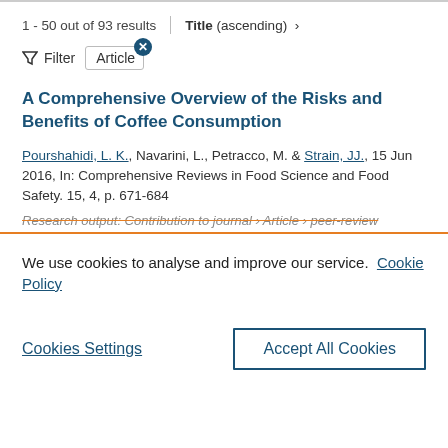1 - 50 out of 93 results   Title (ascending) >
Filter   Article
A Comprehensive Overview of the Risks and Benefits of Coffee Consumption
Pourshahidi, L. K., Navarini, L., Petracco, M. & Strain, JJ., 15 Jun 2016, In: Comprehensive Reviews in Food Science and Food Safety. 15, 4, p. 671-684
Research output: Contribution to journal › Article › peer-review
We use cookies to analyse and improve our service.  Cookie Policy
Cookies Settings
Accept All Cookies